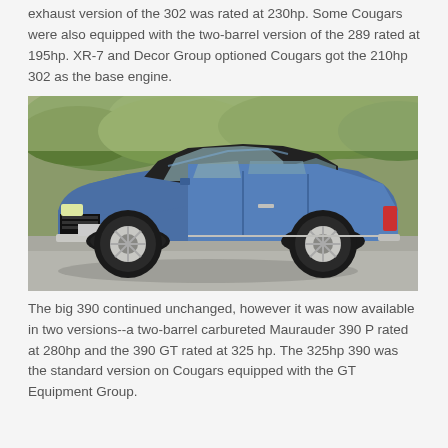exhaust version of the 302 was rated at 230hp. Some Cougars were also equipped with the two-barrel version of the 289 rated at 195hp. XR-7 and Decor Group optioned Cougars got the 210hp 302 as the base engine.
[Figure (photo): A blue Mercury Cougar classic car photographed from a front three-quarter angle, parked on a concrete surface with green hillside vegetation in the background.]
The big 390 continued unchanged, however it was now available in two versions--a two-barrel carbureted Maurauder 390 P rated at 280hp and the 390 GT rated at 325 hp. The 325hp 390 was the standard version on Cougars equipped with the GT Equipment Group.